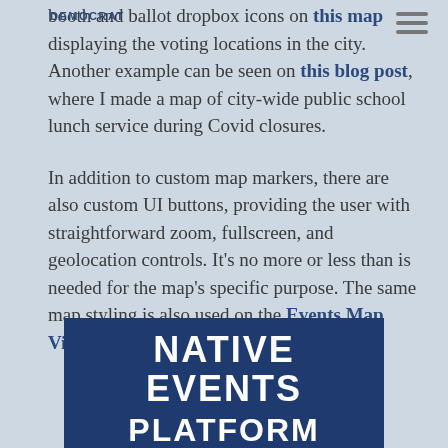DEMOCRAT
booth and ballot dropbox icons on this map displaying the voting locations in the city. Another example can be seen on this blog post, where I made a map of city-wide public school lunch service during Covid closures.
In addition to custom map markers, there are also custom UI buttons, providing the user with straightforward zoom, fullscreen, and geolocation controls. It's no more or less than is needed for the map's specific purpose. The same map styling is also used on the Events Map View page.
NATIVE EVENTS PLATFORM